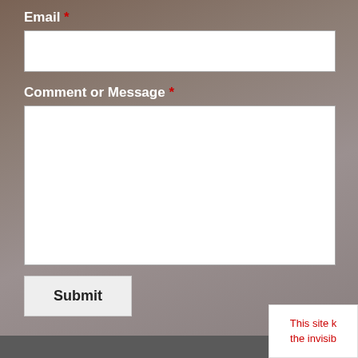Email *
[Figure (screenshot): Empty white text input field for email]
Comment or Message *
[Figure (screenshot): Empty white textarea for comment or message]
[Figure (screenshot): Submit button with label 'Submit']
This site k the invisib